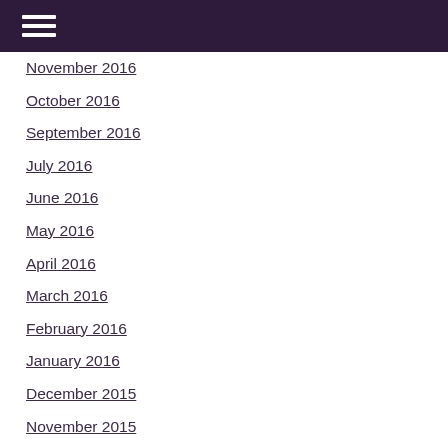Navigation menu
November 2016
October 2016
September 2016
July 2016
June 2016
May 2016
April 2016
March 2016
February 2016
January 2016
December 2015
November 2015
October 2015
September 2015
August 2015